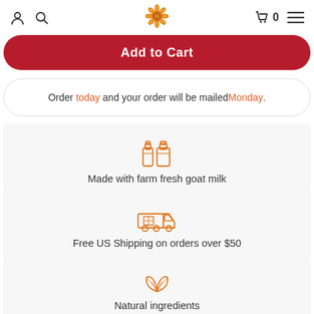Navigation bar with user icon, search icon, sunflower logo, cart (0), and hamburger menu
Add to Cart
Order today and your order will be mailed Monday.
[Figure (illustration): Two orange milk bottles icon]
Made with farm fresh goat milk
[Figure (illustration): Orange delivery truck icon]
Free US Shipping on orders over $50
[Figure (illustration): Orange leaves/natural ingredients icon]
Natural ingredients